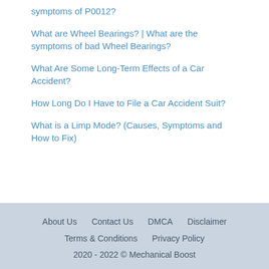symptoms of P0012?
What are Wheel Bearings? | What are the symptoms of bad Wheel Bearings?
What Are Some Long-Term Effects of a Car Accident?
How Long Do I Have to File a Car Accident Suit?
What is a Limp Mode? (Causes, Symptoms and How to Fix)
About Us   Contact Us   DMCA   Disclaimer   Terms & Conditions   Privacy Policy   2020 - 2022 © Mechanical Boost